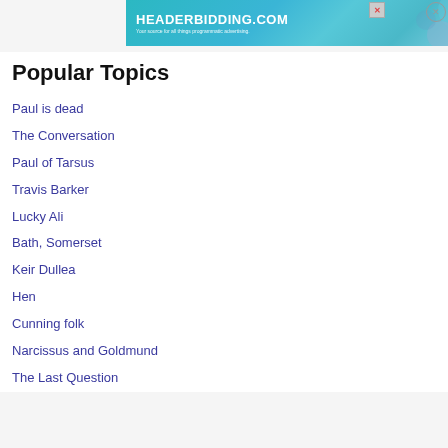[Figure (screenshot): Advertisement banner for HEADERBIDDING.COM with tagline 'Your source for all things programmatic advertising.' on a teal/cyan gradient background]
Popular Topics
Paul is dead
The Conversation
Paul of Tarsus
Travis Barker
Lucky Ali
Bath, Somerset
Keir Dullea
Hen
Cunning folk
Narcissus and Goldmund
The Last Question